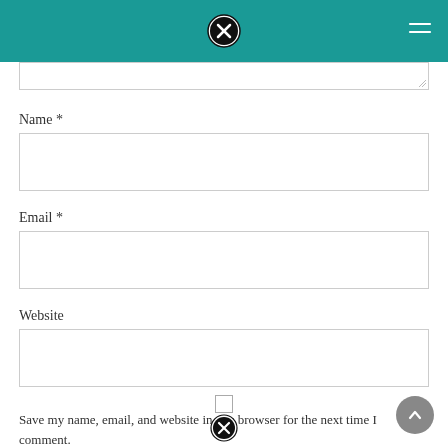[Figure (screenshot): Teal/dark-cyan website header bar with a close (X) icon centered at top and a hamburger menu icon at top right]
Name *
[Figure (other): Empty text input box for Name field]
Email *
[Figure (other): Empty text input box for Email field]
Website
[Figure (other): Empty text input box for Website field]
Save my name, email, and website in this browser for the next time I comment.